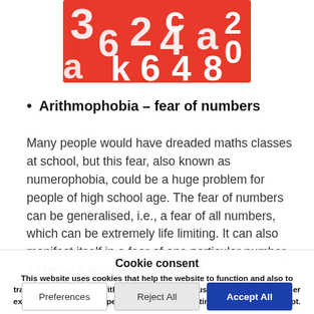[Figure (illustration): Red background image with white numbers and letters scattered across it, partially visible at top of page]
Arithmophobia – fear of numbers
Many people would have dreaded maths classes at school, but this fear, also known as numerophobia, could be a huge problem for people of high school age. The fear of numbers can be generalised, i.e., a fear of all numbers, which can be extremely life limiting. It can also manifest itself in a fear of one particular number, 13 being a good example, which
Cookie consent
This website uses cookies that help the website to function and also to track how you interact with our website. But for us to provide the best user experience, enable the specific cookies from Settings, and click on Accept.